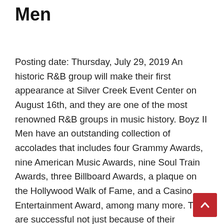Men
Posting date: Thursday, July 29, 2019 An historic R&B group will make their first appearance at Silver Creek Event Center on August 16th, and they are one of the most renowned R&B groups in music history. Boyz II Men have an outstanding collection of accolades that includes four Grammy Awards, nine American Music Awards, nine Soul Train Awards, three Billboard Awards, a plaque on the Hollywood Walk of Fame, and a Casino Entertainment Award, among many more. They are successful not just because of their distinctive music, but also because of their devoted fan base, their capacity to organize sold-out concerts for more than 25 years,